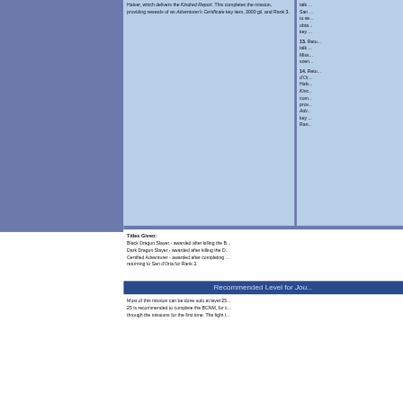Halver, which delivers the Kindred Report. This completes the mission, providing rewards of an Adventurer's Certificate key item, 3000 gil, and Rank 3.
13. Return ... talk ... Mission ... scene...
14. Return to d'Or... Halver ... Kindred Report ... completes ... provides ... Adventurer's Certificate key item ... Rank 3...
Titles Given:
Black Dragon Slayer - awarded after killing the B...
Dark Dragon Slayer - awarded after killing the D...
Certified Adventurer - awarded after completing ... returning to San d'Oria for Rank 3.
Recommended Level for Jou...
Most of this mission can be done solo at level 25... 25 is recommended to complete the BCNM, for c... through the missions for the first time. The fight i...